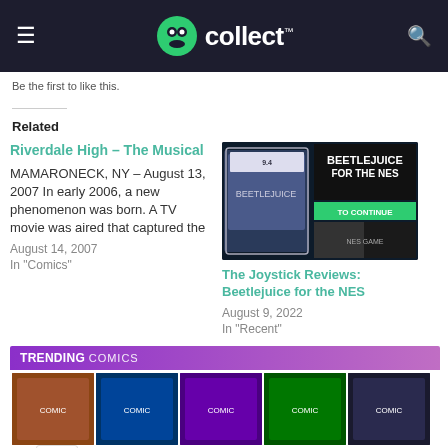GoCollect
Be the first to like this.
Related
Riverdale High – The Musical
MAMARONECK, NY – August 13, 2007 In early 2006, a new phenomenon was born. A TV movie was aired that captured the
August 14, 2007
In "Comics"
[Figure (screenshot): Beetlejuice for the NES promotional image with game cartridge and screenshots. Text reads BEETLEJUICE FOR THE NES and TO CONTINUE.]
The Joystick Reviews: Beetlejuice for the NES
August 9, 2022
In "Recent"
[Figure (screenshot): Trending Comics banner with comic book covers showing trending statistics. Labels show: TRENDING COMICS with arrow indicators 8, 14, 10.]